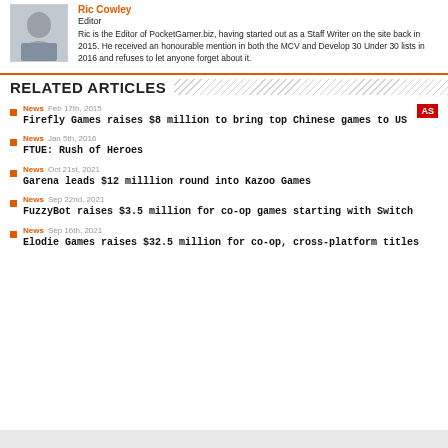[Figure (photo): Headshot photo of author Ric Cowley]
Editor
Ric is the Editor of PocketGamer.biz, having started out as a Staff Writer on the site back in 2015. He received an honourable mention in both the MCV and Develop 30 Under 30 lists in 2016 and refuses to let anyone forget about it.
RELATED ARTICLES
News  Feb 17th, 2015  Firefly Games raises $8 million to bring top Chinese games to US
News  Jan 5th, 2016  FTUE: Rush of Heroes
News  Oct 21st, 2021  Garena leads $12 milllion round into Kazoo Games
News  Sep 22nd, 2021  FuzzyBot raises $3.5 million for co-op games starting with Switch
News  Sep 16th, 2021  Elodie Games raises $32.5 million for co-op, cross-platform titles